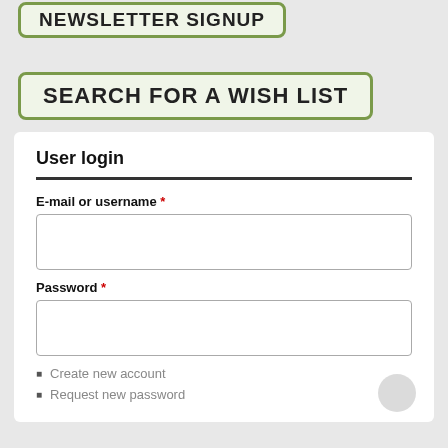[Figure (screenshot): Partially visible green-bordered button labeled NEWSLETTER SIGNUP at the top of the page]
[Figure (screenshot): Green-bordered button labeled SEARCH FOR A WISH LIST]
User login
E-mail or username *
Password *
Create new account
Request new password